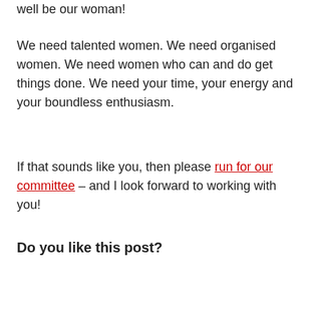well be our woman!
We need talented women. We need organised women. We need women who can and do get things done. We need your time, your energy and your boundless enthusiasm.
If that sounds like you, then please run for our committee – and I look forward to working with you!
Do you like this post?
[Figure (other): Tweet button with Twitter bird icon]